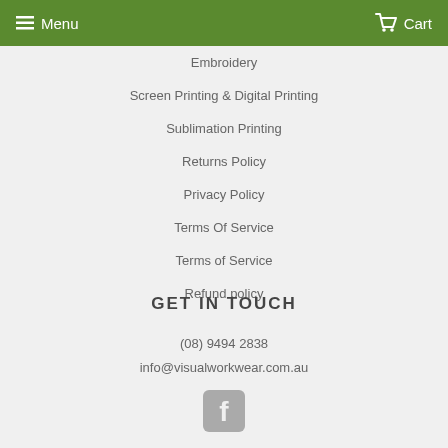Menu   Cart
Embroidery
Screen Printing & Digital Printing
Sublimation Printing
Returns Policy
Privacy Policy
Terms Of Service
Terms of Service
Refund policy
GET IN TOUCH
(08) 9494 2838
info@visualworkwear.com.au
[Figure (logo): Facebook icon in grey]